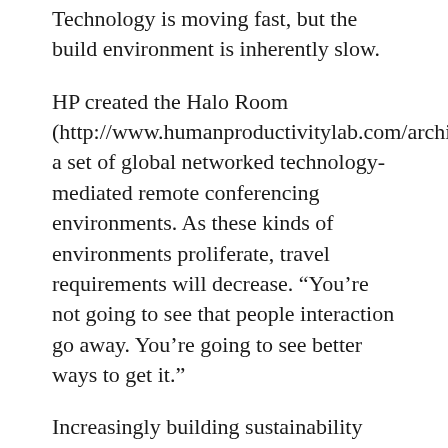Technology is moving fast, but the build environment is inherently slow.
HP created the Halo Room (http://www.humanproductivitylab.com/archive_blogs/2007/08/28/hp_halo_releases_hp_meeting_ro.php), a set of global networked technology-mediated remote conferencing environments. As these kinds of environments proliferate, travel requirements will decrease. “You’re not going to see that people interaction go away. You’re going to see better ways to get it.”
Increasingly building sustainability into design standards, which may have to vary for different (non-U.S.) contexts. Striving for a zero-effect